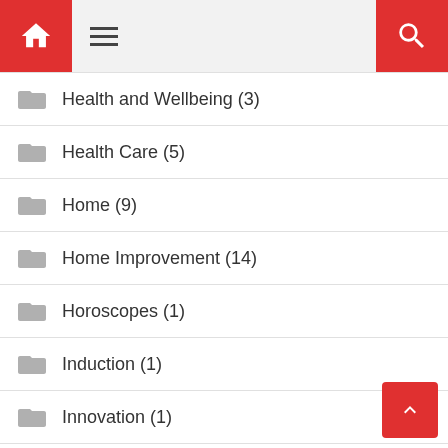Navigation header with home icon, hamburger menu, and search icon
Health and Wellbeing (3)
Health Care (5)
Home (9)
Home Improvement (14)
Horoscopes (1)
Induction (1)
Innovation (1)
Instrument (1)
Insurance (3)